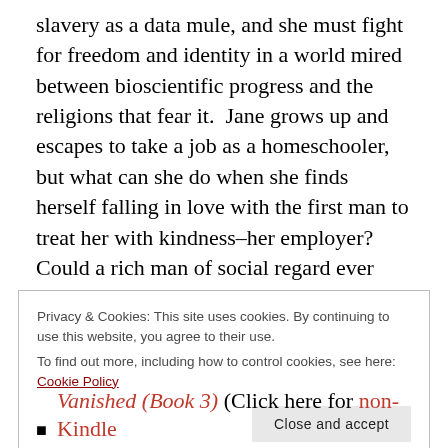slavery as a data mule, and she must fight for freedom and identity in a world mired between bioscientific progress and the religions that fear it.  Jane grows up and escapes to take a job as a homeschooler, but what can she do when she finds herself falling in love with the first man to treat her with kindness–her employer?  Could a rich man of social regard ever love someone without even a name of her own?  And can Jane's love for him survive the deepest of betrayals?  This Jane's story celebrates and reexamines the continued relevance of a literary classic, demonstrating that self-respect and genuine love are worth a fight, regardless of
Privacy & Cookies: This site uses cookies. By continuing to use this website, you agree to their use.
To find out more, including how to control cookies, see here: Cookie Policy
Close and accept
Vanished (Book 3) (Click here for non-Kindle